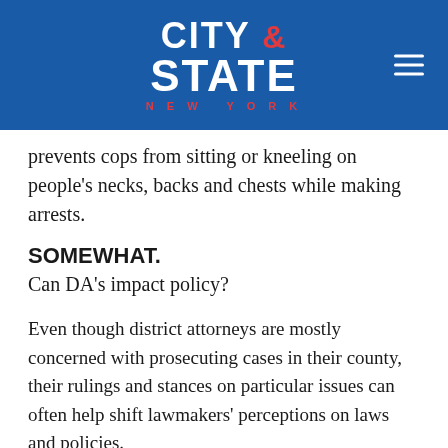CITY & STATE NEW YORK
prevents cops from sitting or kneeling on people's necks, backs and chests while making arrests.
SOMEWHAT.
Can DA's impact policy?
Even though district attorneys are mostly concerned with prosecuting cases in their county, their rulings and stances on particular issues can often help shift lawmakers' perceptions on laws and policies.
A prime example of this would be Brooklyn District Attorney Eric Gonzalez's decision in 2019, to no longer prosecute a loitering law that activists called the “walking while trans” ban, which disproportionately affected trans women of color